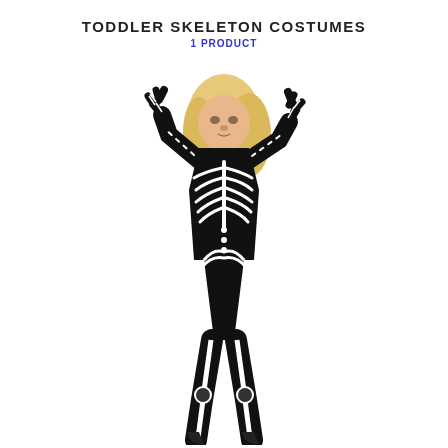TODDLER SKELETON COSTUMES
1 PRODUCT
[Figure (photo): A woman wearing a black skeleton costume jumpsuit with white bone patterns printed on it, including rib cage, spine, and leg bones. She has blonde curly hair and is wearing matching skeleton-print gloves and heeled boots. She is posing with her hands raised near her head against a white background.]